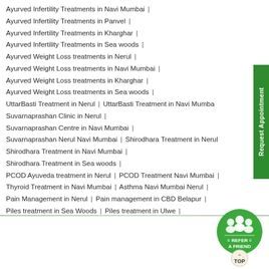Ayurved Infertility Treatments in Navi Mumbai |
Ayurved Infertility Treatments in Panvel |
Ayurved Infertility Treatments in Kharghar |
Ayurved Infertility Treatments in Sea woods |
Ayurved Weight Loss treatments in Nerul |
Ayurved Weight Loss treatments in Navi Mumbai |
Ayurved Weight Loss treatments in Kharghar |
Ayurved Weight Loss treatments in Sea woods |
UttarBasti Treatment in Nerul | UttarBasti Treatment in Navi Mumbai
Suvarnaprashan Clinic in Nerul |
Suvarnaprashan Centre in Navi Mumbai |
Suvarnaprashan Nerul Navi Mumbai | Shirodhara Treatment in Nerul
Shirodhara Treatment in Navi Mumbai |
Shirodhara Treatment in Sea woods |
PCOD Ayuveda treatment in Nerul | PCOD Treatment Navi Mumbai |
Thyroid Treatment in Navi Mumbai | Asthma Navi Mumbai Nerul |
Pain Management in Nerul | Pain management in CBD Belapur |
Piles treatment in Sea Woods | Piles treatment in Ulwe |
[Figure (logo): Refer a Friend circular badge in green with people icon, and a TOP button below it]